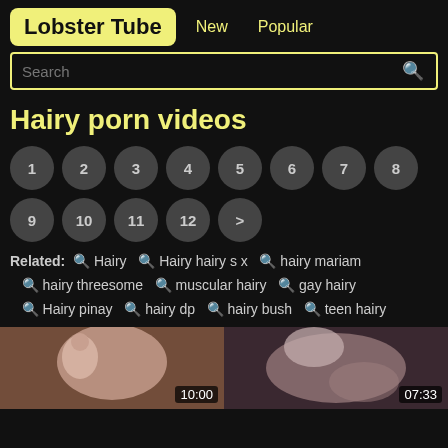Lobster Tube  New  Popular
Search
Hairy porn videos
1 2 3 4 5 6 7 8 9 10 11 12 >
Related: Hairy  Hairy hairy s x  hairy mariam  hairy threesome  muscular hairy  gay hairy  Hairy pinay  hairy dp  hairy bush  teen hairy
[Figure (photo): Video thumbnail showing adult content, duration 10:00]
[Figure (photo): Video thumbnail showing adult content, duration 07:33]